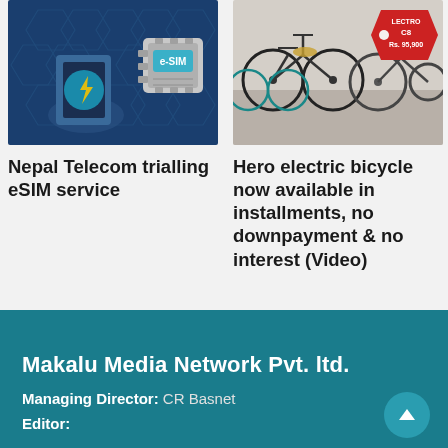[Figure (photo): Illustration of a hand holding a smartphone with Nepal Telecom app and an eSIM chip graphic on a blue hexagonal background]
[Figure (photo): Photo of electric bicycles displayed in a store, with a red price tag showing 'LECTRO C8 Rs. 95,900']
Nepal Telecom trialling eSIM service
Hero electric bicycle now available in installments, no downpayment & no interest (Video)
Makalu Media Network Pvt. ltd.
Managing Director: CR Basnet
Editor: